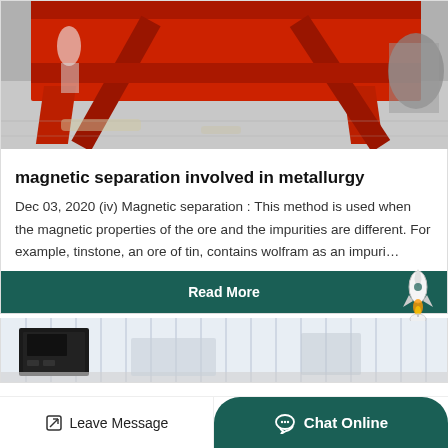[Figure (photo): Red industrial magnetic separation equipment on a concrete factory floor]
magnetic separation involved in metallurgy
Dec 03, 2020 (iv) Magnetic separation : This method is used when the magnetic properties of the ore and the impurities are different. For example, tinstone, an ore of tin, contains wolfram as an impuri...
Read More
[Figure (photo): White industrial equipment in a bright warehouse setting with a black machine in the foreground]
Leave Message
Chat Online